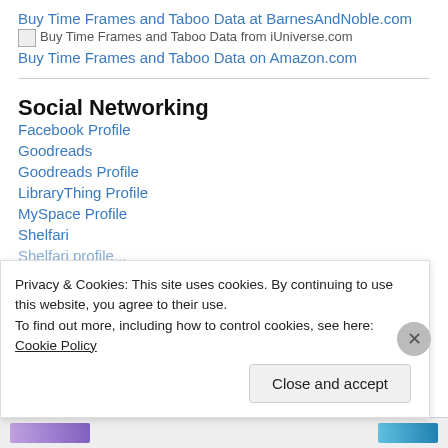Buy Time Frames and Taboo Data at BarnesAndNoble.com
[img] Buy Time Frames and Taboo Data from iUniverse.com
Buy Time Frames and Taboo Data on Amazon.com
Social Networking
Facebook Profile
Goodreads
Goodreads Profile
LibraryThing Profile
MySpace Profile
Shelfari
Shelfari profile (partial)
Privacy & Cookies: This site uses cookies. By continuing to use this website, you agree to their use.
To find out more, including how to control cookies, see here: Cookie Policy
Close and accept